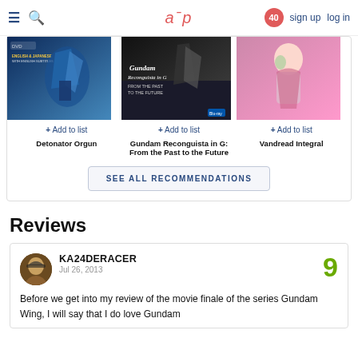aup  40  sign up  log in
[Figure (illustration): Three anime DVD/Blu-ray cover images side by side: Detonator Orgun (blue mecha), Gundam Reconguista in G: From the Past to the Future (dark mecha), Vandread Integral (anime girl)]
+ Add to list    + Add to list    + Add to list
Detonator Orgun    Gundam Reconguista in G: From the Past to the Future    Vandread Integral
SEE ALL RECOMMENDATIONS
Reviews
KA24DERACER
Jul 26, 2013
9
Before we get into my review of the movie finale of the series Gundam Wing, I will say that I do love Gundam